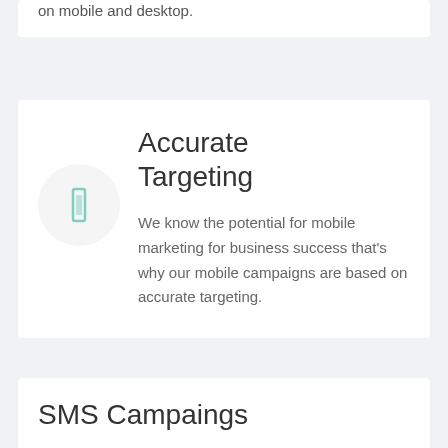on mobile and desktop.
Accurate Targeting
[Figure (illustration): A rounded square icon with a small teal/mint colored vertical rectangle symbol in the center, on a light grey circle background]
We know the potential for mobile marketing for business success that's why our mobile campaigns are based on accurate targeting.
SMS Campaings